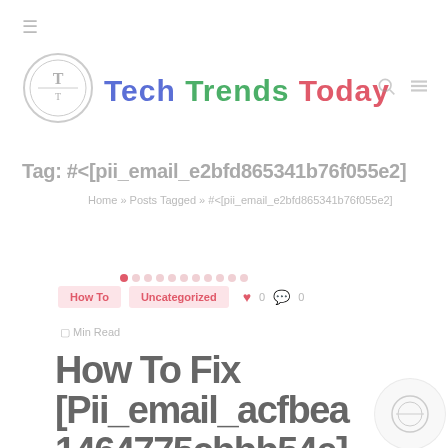Tech Trends Today
Tag: #<[pii_email_e2bfd865341b76f055e2]
Home » Posts Tagged » #<[pii_email_e2bfd865341b76f055e2]
How To | Uncategorized | 0 likes | 0 comments
Min Read
How To Fix [Pii_email_acfbea1464775cbbb54e] Error Of Outlook